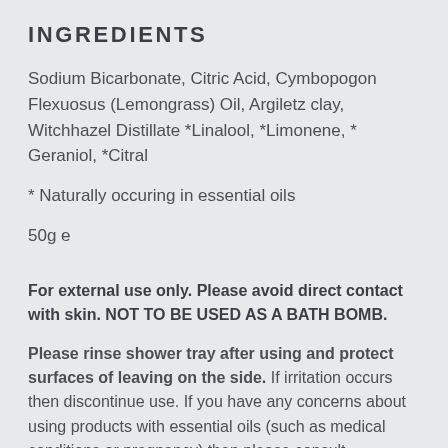INGREDIENTS
Sodium Bicarbonate, Citric Acid, Cymbopogon Flexuosus (Lemongrass) Oil, Argiletz clay, Witchhazel Distillate *Linalool, *Limonene, * Geraniol, *Citral
* Naturally occuring in essential oils
50g e
For external use only. Please avoid direct contact with skin. NOT TO BE USED AS A BATH BOMB.
Please rinse shower tray after using and protect surfaces of leaving on the side. If irritation occurs then discontinue use. If you have any concerns about using products with essential oils (such as medical conditions or pregnancy) then please consult